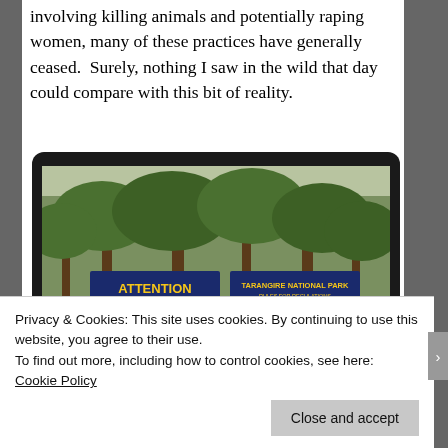involving killing animals and potentially raping women, many of these practices have generally ceased.  Surely, nothing I saw in the wild that day could compare with this bit of reality.
[Figure (photo): A photograph displayed in a dark tablet-like frame showing two blue signs with yellow text in an outdoor wooded area. The left sign reads 'ATTENTION NOTICE TO ALL OUR ESTEEMED VISITORS' and the right sign reads 'TARANGIRE NATIONAL PARK'. Navigation arrows (left, pause, right) are visible at the bottom of the frame.]
Privacy & Cookies: This site uses cookies. By continuing to use this website, you agree to their use.
To find out more, including how to control cookies, see here: Cookie Policy
Close and accept